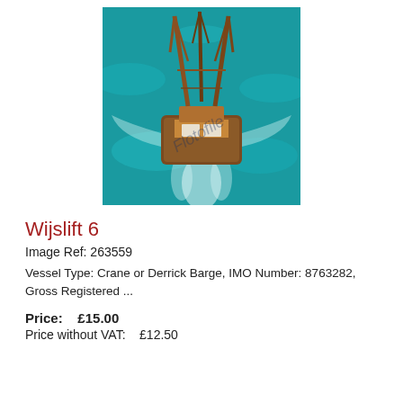[Figure (photo): Aerial view of the Wijslift 6 crane or derrick barge vessel at sea, viewed from above, showing the structure with tall derricks/cranes and a barge hull surrounded by turquoise water with wake patterns. A watermark 'Flotofile' is visible.]
Wijslift 6
Image Ref: 263559
Vessel Type: Crane or Derrick Barge, IMO Number: 8763282, Gross Registered ...
Price:   £15.00
Price without VAT:    £12.50